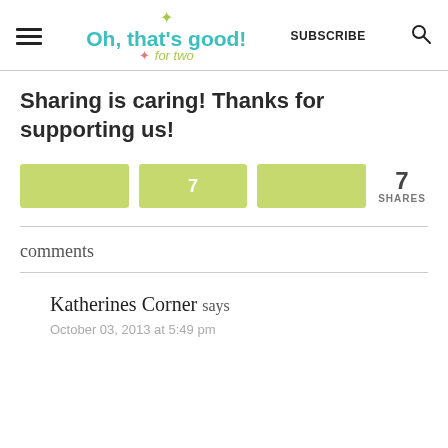Oh, that's good! for two — SUBSCRIBE
Sharing is caring! Thanks for supporting us!
[Figure (infographic): Three yellow-green share buttons in a row. The middle button shows '7'. To the right: '7 SHARES'.]
comments
Katherines Corner says
October 03, 2013 at 5:49 pm